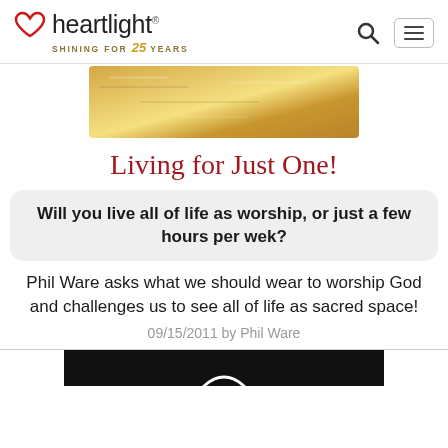heartlight® — SHINING FOR 25 YEARS
[Figure (photo): Gold textured rectangular image, partially visible at top center]
Living for Just One!
Will you live all of life as worship, or just a few hours per wek?
Phil Ware asks what we should wear to worship God and challenges us to see all of life as sacred space!
09/15/2011 by Phil Ware
[Figure (photo): Dark image with white crescent/smile shape, partially visible at bottom center]